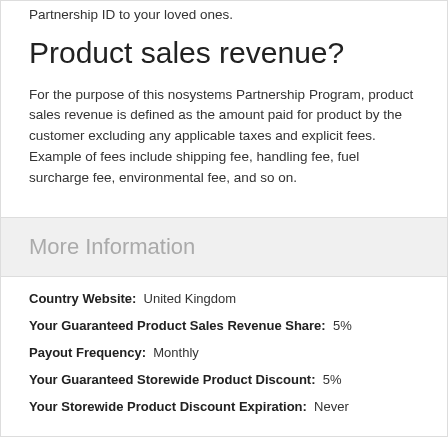Partnership ID to your loved ones.
Product sales revenue?
For the purpose of this nosystems Partnership Program, product sales revenue is defined as the amount paid for product by the customer excluding any applicable taxes and explicit fees. Example of fees include shipping fee, handling fee, fuel surcharge fee, environmental fee, and so on.
More Information
Country Website: United Kingdom
Your Guaranteed Product Sales Revenue Share: 5%
Payout Frequency: Monthly
Your Guaranteed Storewide Product Discount: 5%
Your Storewide Product Discount Expiration: Never